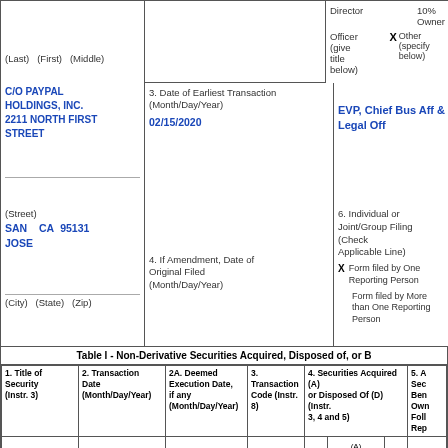(Last)   (First)   (Middle)
C/O PAYPAL HOLDINGS, INC.
2211 NORTH FIRST STREET
Director   10% Owner
X   Officer (give title below)   Other (specify below)
3. Date of Earliest Transaction (Month/Day/Year)
02/15/2020
EVP, Chief Bus Aff & Legal Off
(Street)
SAN JOSE   CA   95131
4. If Amendment, Date of Original Filed (Month/Day/Year)
6. Individual or Joint/Group Filing (Check Applicable Line)
X  Form filed by One Reporting Person
Form filed by More than One Reporting Person
(City)   (State)   (Zip)
Table I - Non-Derivative Securities Acquired, Disposed of, or B
| 1. Title of Security (Instr. 3) | 2. Transaction Date (Month/Day/Year) | 2A. Deemed Execution Date, if any (Month/Day/Year) | 3. Transaction Code (Instr. 8) | 4. Securities Acquired (A) or Disposed Of (D) (Instr. 3, 4 and 5) | 5. A Sec Ben Own Foll Rep |
| --- | --- | --- | --- | --- | --- |